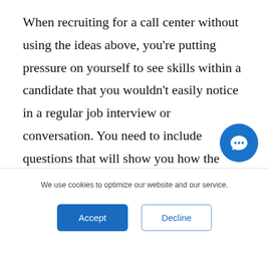When recruiting for a call center without using the ideas above, you're putting pressure on yourself to see skills within a candidate that you wouldn't easily notice in a regular job interview or conversation. You need to include questions that will show you how the candidate handles high-
[Figure (illustration): Blue circular chat/messaging button with a white speech bubble icon]
We use cookies to optimize our website and our service.